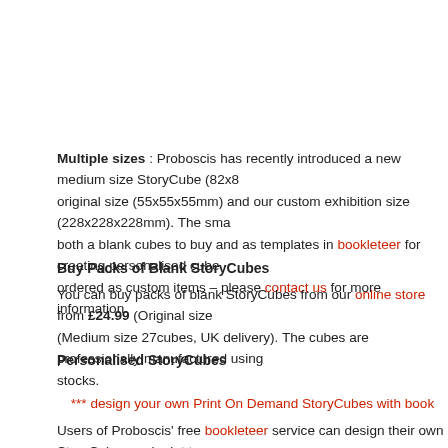Multiple sizes : Proboscis has recently introduced a new medium size StoryCube (82x8... original size (55x55x55mm) and our custom exhibition size (228x228x228mm). The sma... both a blank cubes to buy and as templates in bookleteer for creating personalised cube... ordered as custom items – please contact us for more information.
Buy Packs of Blank StoryCubes
You can buy packs of blank StoryCubes from our online store from £24.99 (Original size... (Medium size 27cubes, UK delivery). The cubes are professionally manufactured using... stocks.
Personalised StoryCubes
*** design your own Print On Demand StoryCubes with book...
Users of Proboscis' free bookleteer service can design their own StoryCubes and print t... standard paper or card. Alternatively you can use our Short Run printing service to orde...